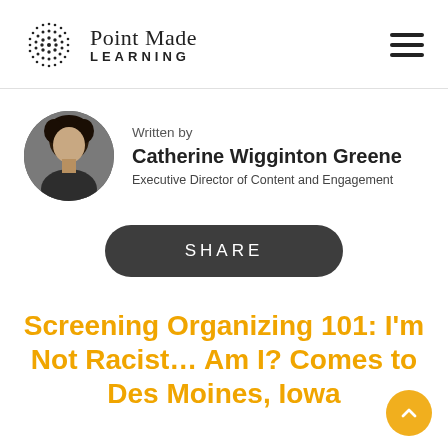[Figure (logo): Point Made Learning logo with dotted circle icon and text]
Written by
Catherine Wigginton Greene
Executive Director of Content and Engagement
SHARE
Screening Organizing 101: I’m Not Racist… Am I? Comes to Des Moines, Iowa